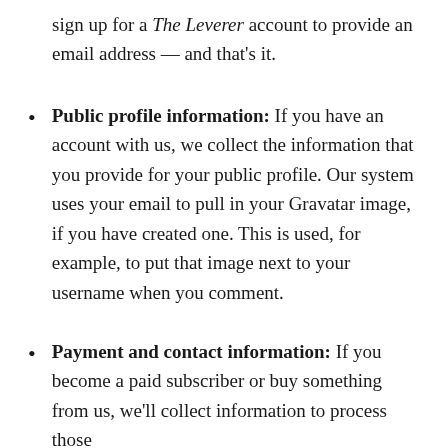sign up for a The Leverer account to provide an email address — and that's it.
Public profile information: If you have an account with us, we collect the information that you provide for your public profile. Our system uses your email to pull in your Gravatar image, if you have created one. This is used, for example, to put that image next to your username when you comment.
Payment and contact information: If you become a paid subscriber or buy something from us, we'll collect information to process those